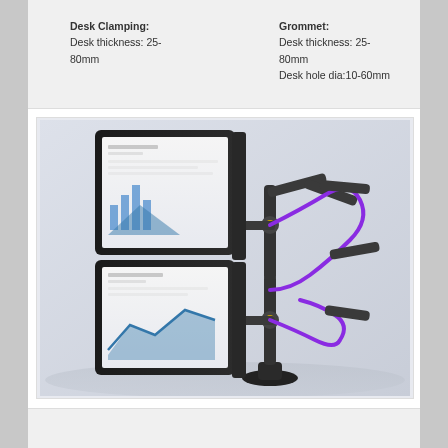Desk Clamping:
Desk thickness: 25-80mm
Grommet:
Desk thickness: 25-80mm
Desk hole dia:10-60mm
[Figure (photo): Dual monitor arm mount with two monitors stacked vertically, black arm with purple cable management, mounted on desk base]